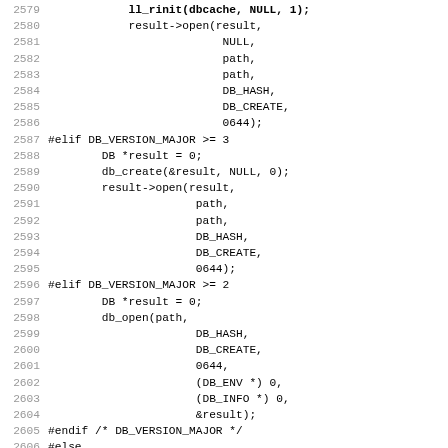Code listing lines 2579-2611 showing C source code with preprocessor directives for DB_VERSION_MAJOR conditionals